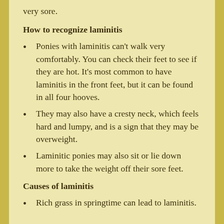very sore.
How to recognize laminitis
Ponies with laminitis can't walk very comfortably. You can check their feet to see if they are hot. It's most common to have laminitis in the front feet, but it can be found in all four hooves.
They may also have a cresty neck, which feels hard and lumpy, and is a sign that they may be overweight.
Laminitic ponies may also sit or lie down more to take the weight off their sore feet.
Causes of laminitis
Rich grass in springtime can lead to laminitis.